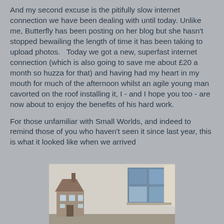And my second excuse is the pitifully slow internet connection we have been dealing with until today. Unlike me, Butterfly has been posting on her blog but she hasn't stopped bewailing the length of time it has been taking to upload photos.   Today we got a new, superfast internet connection (which is also going to save me about £20 a month so huzza for that) and having had my heart in my mouth for much of the afternoon whilst an agile young man cavorted on the roof installing it, I - and I hope you too - are now about to enjoy the benefits of his hard work.
For those unfamiliar with Small Worlds, and indeed to remind those of you who haven't seen it since last year, this is what it looked like when we arrived
[Figure (photo): Interior room photo showing a window with curtains on the right side and what appears to be a dollhouse or miniature building on the left, taken when arriving at Small Worlds.]